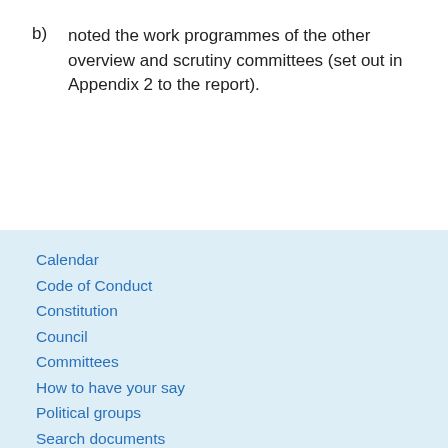b) noted the work programmes of the other overview and scrutiny committees (set out in Appendix 2 to the report).
Calendar
Code of Conduct
Constitution
Council
Committees
How to have your say
Political groups
Search documents
Subscribe to updates